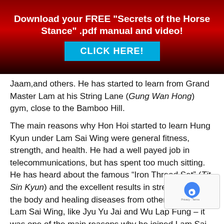Download your FREE "Secrets of the Horse Stance" .pdf manual and video! CLICK HERE!
Jaam,and others. He has started to learn from Grand Master Lam at his String Lane (Gung Wan Hong) gym, close to the Bamboo Hill.
The main reasons why Hon Hoi started to learn Hung Kyun under Lam Sai Wing were general fitness, strength, and health. He had a well payed job in telecommunications, but has spent too much sitting. He has heard about the famous “Iron Thread Set” (Tit Sin Kyun) and the excellent results in strengthening the body and healing diseases from other students of Lam Sai Wing, like Jyu Yu Jai and Wu Lap Fung – it was one of the main reasons why he joined Lam Sai Wing§s gym and eventually learned and mastered the set.
Continue reading →